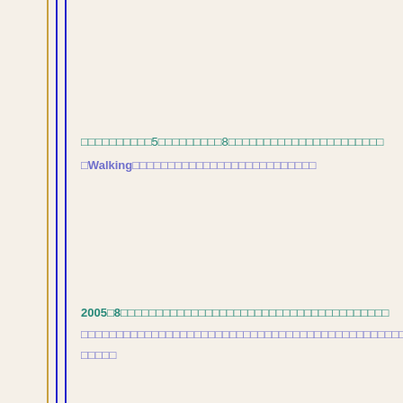□□□□□□□□□□5□□□□□□□□□8□□□□□□□□□□□□□□□□□□□□□□□□□Walking□□□□□□□□□□□□□□□□□□□□□□□□□□□□
2005□8□□□□□□□□□□□□□□□□□□□□□□□□□□□□□□□□□□□□□□□□□□□□□□□□□□□□□□□□□□□□□□□□□□□□□□□□□□□□□□□□□□□□□□□□□□□□□□□□□□□□□□□□□□□□□□□□□□□□□□□